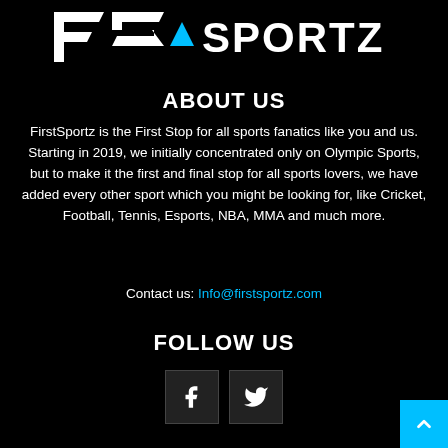[Figure (logo): FirstSportz logo with stylized 'FS' letters and cyan triangle, white text on black background]
ABOUT US
FirstSportz is the First Stop for all sports fanatics like you and us. Starting in 2019, we initially concentrated only on Olympic Sports, but to make it the first and final stop for all sports lovers, we have added every other sport which you might be looking for, like Cricket, Football, Tennis, Esports, NBA, MMA and much more.
Contact us: Info@firstsportz.com
FOLLOW US
[Figure (logo): Facebook and Twitter social media icon buttons]
[Figure (other): Cyan back-to-top arrow button in bottom right corner]